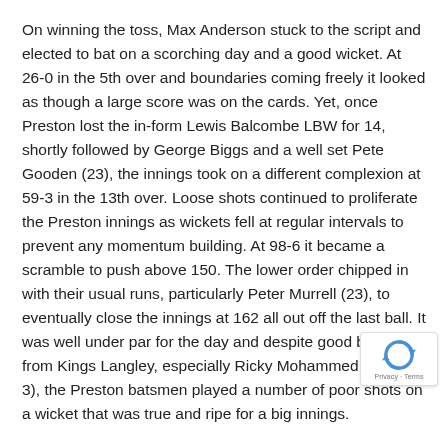On winning the toss, Max Anderson stuck to the script and elected to bat on a scorching day and a good wicket. At 26-0 in the 5th over and boundaries coming freely it looked as though a large score was on the cards. Yet, once Preston lost the in-form Lewis Balcombe LBW for 14, shortly followed by George Biggs and a well set Pete Gooden (23), the innings took on a different complexion at 59-3 in the 13th over. Loose shots continued to proliferate the Preston innings as wickets fell at regular intervals to prevent any momentum building. At 98-6 it became a scramble to push above 150. The lower order chipped in with their usual runs, particularly Peter Murrell (23), to eventually close the innings at 162 all out off the last ball. It was well under par for the day and despite good bowling from Kings Langley, especially Ricky Mohammed (10-7-3-3), the Preston batsmen played a number of poor shots on a wicket that was true and ripe for a big innings.
Preston still had confidence going into the bowling half